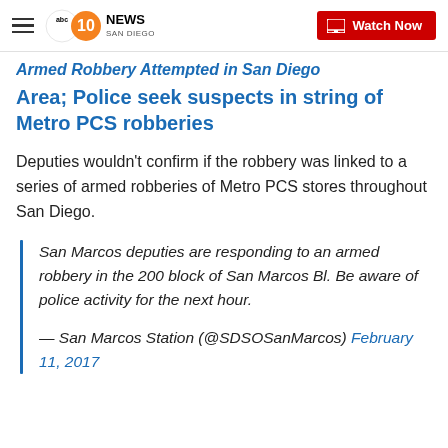10 News San Diego — Watch Now
Area; Police seek suspects in string of Metro PCS robberies
Deputies wouldn't confirm if the robbery was linked to a series of armed robberies of Metro PCS stores throughout San Diego.
San Marcos deputies are responding to an armed robbery in the 200 block of San Marcos Bl. Be aware of police activity for the next hour.
— San Marcos Station (@SDSOSanMarcos) February 11, 2017